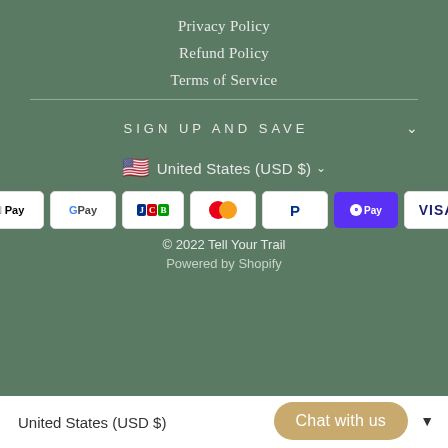Privacy Policy
Refund Policy
Terms of Service
SIGN UP AND SAVE
United States (USD $)
[Figure (other): Payment method icons: Apple Pay, Google Pay, JCB, Mastercard, PayPal, Shop Pay, Visa]
© 2022 Tell Your Trail
Powered by Shopify
United States (USD $)   Chat with us